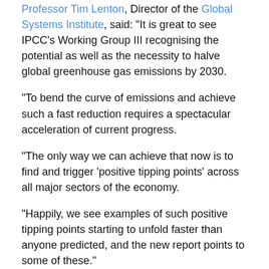Professor Tim Lenton, Director of the Global Systems Institute, said: "It is great to see IPCC's Working Group III recognising the potential as well as the necessity to halve global greenhouse gas emissions by 2030.
"To bend the curve of emissions and achieve such a fast reduction requires a spectacular acceleration of current progress.
"The only way we can achieve that now is to find and trigger 'positive tipping points' across all major sectors of the economy.
"Happily, we see examples of such positive tipping points starting to unfold faster than anyone predicted, and the new report points to some of these."
Professor Ian Bateman, Director of the Land, Environment, Economics and Policy Institute (LEEP) and the South West Partnership for Environment and Economic Prosperity (SWEEP), said: "The greatly enhanced detail of the new IPCC report has direct relevance for the Government's